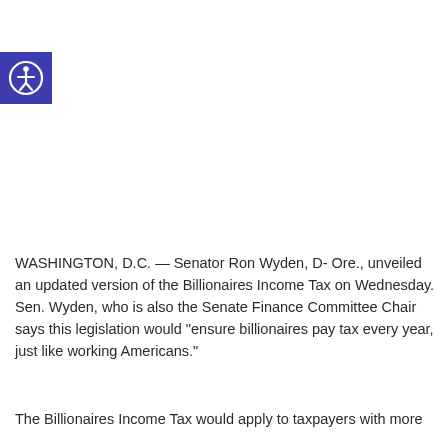[Figure (logo): Accessibility icon: white person with outstretched arms inside a circle on a dark blue/purple square background]
WASHINGTON, D.C. — Senator Ron Wyden, D- Ore., unveiled an updated version of the Billionaires Income Tax on Wednesday. Sen. Wyden, who is also the Senate Finance Committee Chair says this legislation would “ensure billionaires pay tax every year, just like working Americans.”
The Billionaires Income Tax would apply to taxpayers with more than a billion in assets or more than a million in income for...